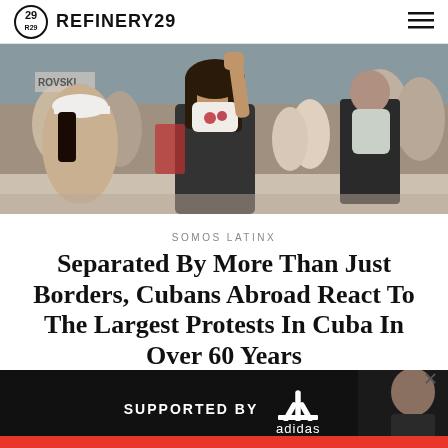REFINERY29
[Figure (photo): Crowd of protesters in a busy street or plaza; central figure is a woman with dark hair wearing a black shirt and a white face mask with red rose pattern, arm raised; other people visible in background]
SOMOS LATINX
Separated By More Than Just Borders, Cubans Abroad React To The Largest Protests In Cuba In Over 60 Years
MARIA CARLA ROSALES GERPE    JULY 13, 2021 8:40 PM
[Figure (other): Advertisement banner: SUPPORTED BY adidas logo, with partial image of a person on the right side]